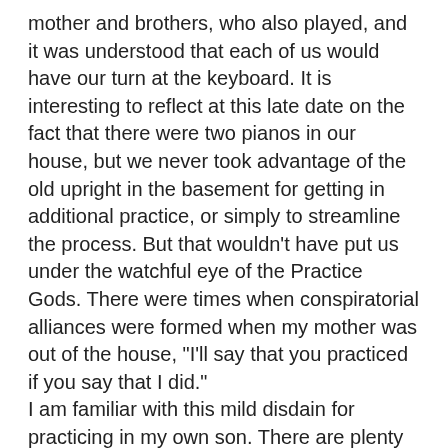mother and brothers, who also played, and it was understood that each of us would have our turn at the keyboard. It is interesting to reflect at this late date on the fact that there were two pianos in our house, but we never took advantage of the old upright in the basement for getting in additional practice, or simply to streamline the process. But that wouldn't have put us under the watchful eye of the Practice Gods. There were times when conspiratorial alliances were formed when my mother was out of the house, "I'll say that you practiced if you say that I did." I am familiar with this mild disdain for practicing in my own son. There are plenty of days when we have to stand over him, but once he finally sits down to play, the music tends to simply pour out of him. It's not that he plays everything without effort. His rhythm and tempo fluctuate as wildly as his attention, but the resulting medleys are often more entertaining than your average recital. It gives me that wonderful mix of emotions that parents often encounter: pride for the accomplishments of their child, and a sense of missed opportunity from their own youth. Saturday morning, after a twenty minute run through of some of his greatest hits, my son announced that he might like to